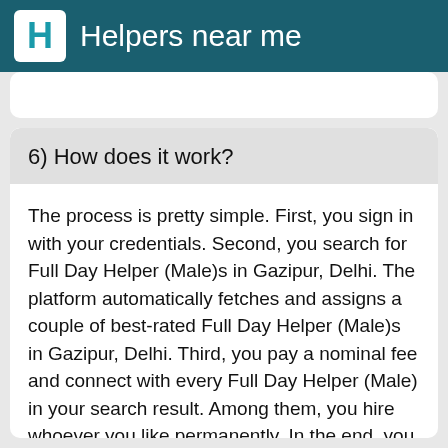Helpers near me
6) How does it work?
The process is pretty simple. First, you sign in with your credentials. Second, you search for Full Day Helper (Male)s in Gazipur, Delhi. The platform automatically fetches and assigns a couple of best-rated Full Day Helper (Male)s in Gazipur, Delhi. Third, you pay a nominal fee and connect with every Full Day Helper (Male) in your search result. Among them, you hire whoever you like permanently. In the end, you
Find & Hire now →